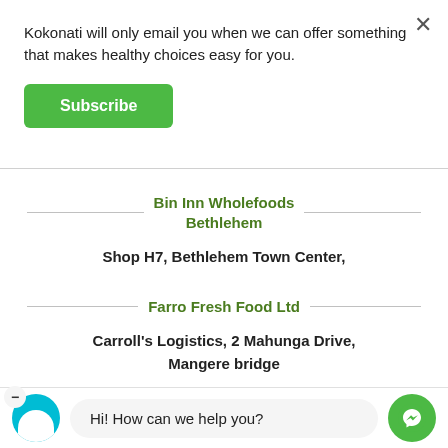Kokonati will only email you when we can offer something that makes healthy choices easy for you.
Subscribe
Bin Inn Wholefoods Bethlehem
Shop H7, Bethlehem Town Center,
Farro Fresh Food Ltd
Carroll's Logistics, 2 Mahunga Drive, Mangere bridge
Hi! How can we help you?